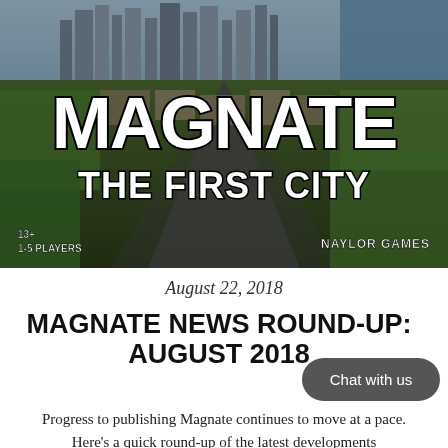[Figure (photo): Aerial view of a city skyline used as the cover image for Magnate: The First City board game, with bold white text overlaid reading MAGNATE and THE FIRST CITY, along with game info: 13+, 1-5 Players, Naylor Games]
August 22, 2018
MAGNATE NEWS ROUND-UP: AUGUST 2018
Progress to publishing Magnate continues to move at a pace. Here's a quick round-up of the latest developments